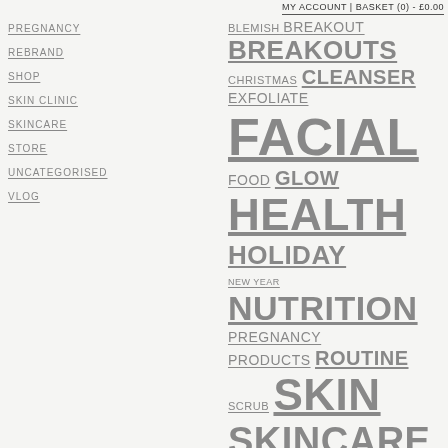MY ACCOUNT | BASKET (0) - £0.00
PREGNANCY
REBRAND
SHOP
SKIN CLINIC
SKINCARE
STORE
UNCATEGORISED
VLOG
BLEMISH BREAKOUT BREAKOUTS CHRISTMAS CLEANSER EXFOLIATE FACIAL FOOD GLOW HEALTH HOLIDAY NEW YEAR NUTRITION PREGNANCY PRODUCTS ROUTINE SCRUB SKIN SKINCARE SKIN CARE SKINHEALTH SKINTHERAPIST SPOTS SUN SUN